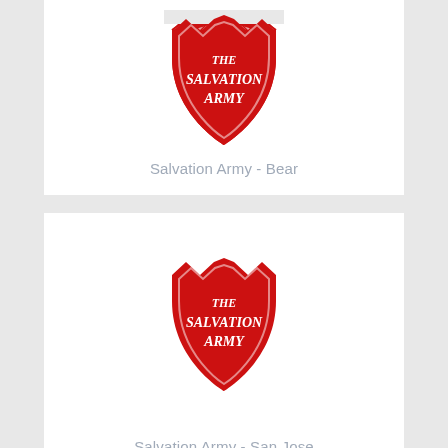[Figure (logo): The Salvation Army shield logo in red with white text reading THE SALVATION ARMY]
Salvation Army - Bear
[Figure (logo): The Salvation Army shield logo in red with white text reading THE SALVATION ARMY]
Salvation Army - San Jose